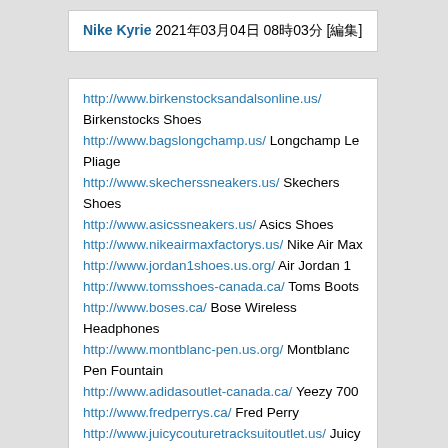Nike Kyrie 2021年03月04日 08時03分 [編集]
http://www.birkenstocksandalsonline.us/ Birkenstocks Shoes
http://www.bagslongchamp.us/ Longchamp Le Pliage
http://www.skecherssneakers.us/ Skechers Shoes
http://www.asicssneakers.us/ Asics Shoes
http://www.nikeairmaxfactorys.us/ Nike Air Max
http://www.jordan1shoes.us.org/ Air Jordan 1
http://www.tomsshoes-canada.ca/ Toms Boots
http://www.boses.ca/ Bose Wireless Headphones
http://www.montblanc-pen.us.org/ Montblanc Pen Fountain
http://www.adidasoutlet-canada.ca/ Yeezy 700
http://www.fredperrys.ca/ Fred Perry
http://www.juicycouturetracksuitoutlet.us/ Juicy Couture Outlet
http://www.geox-shoes.ca/ Geox Boots Canada
http://www.calvinkleinunderwears.us/ Calvin Klein Underwear